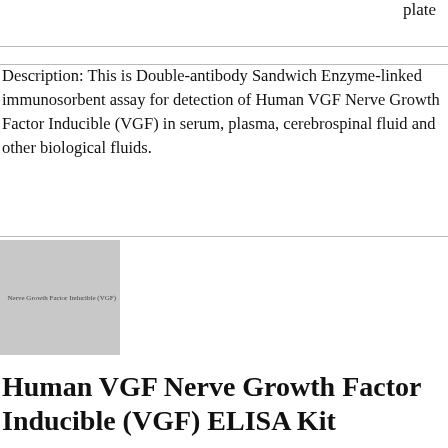plate
Description: This is Double-antibody Sandwich Enzyme-linked immunosorbent assay for detection of Human VGF Nerve Growth Factor Inducible (VGF) in serum, plasma, cerebrospinal fluid and other biological fluids.
[Figure (photo): Product image placeholder showing Human VGF Nerve Growth Factor Inducible (VGF) ELISA Kit with text label partially visible]
Human VGF Nerve Growth Factor Inducible (VGF) ELISA Kit